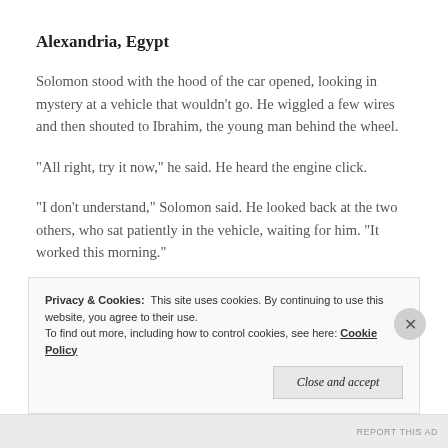Alexandria, Egypt
Solomon stood with the hood of the car opened, looking in mystery at a vehicle that wouldn't go. He wiggled a few wires and then shouted to Ibrahim, the young man behind the wheel.
“All right, try it now,” he said. He heard the engine click.
“I don’t understand,” Solomon said. He looked back at the two others, who sat patiently in the vehicle, waiting for him. “It worked this morning.”
Privacy & Cookies:  This site uses cookies. By continuing to use this website, you agree to their use.
To find out more, including how to control cookies, see here: Cookie Policy
Close and accept